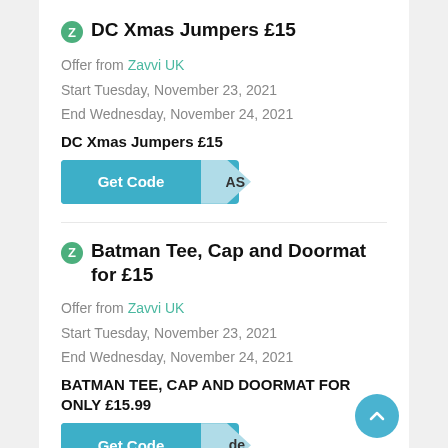DC Xmas Jumpers £15
Offer from Zavvi UK
Start Tuesday, November 23, 2021
End Wednesday, November 24, 2021
DC Xmas Jumpers £15
[Figure (other): Get Code button with teal background and folded corner flap showing 'AS']
Batman Tee, Cap and Doormat for £15
Offer from Zavvi UK
Start Tuesday, November 23, 2021
End Wednesday, November 24, 2021
BATMAN TEE, CAP AND DOORMAT FOR ONLY £15.99
[Figure (other): Get Code button with teal background and folded corner flap showing 'de']